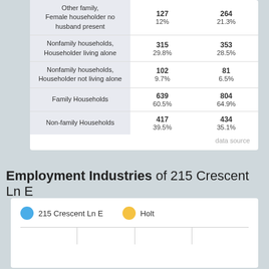| Category | 215 Crescent Ln E | Holt |
| --- | --- | --- |
| Other family, Female householder no husband present | 127
12% | 264
21.3% |
| Nonfamily households, Householder living alone | 315
29.8% | 353
28.5% |
| Nonfamily households, Householder not living alone | 102
9.7% | 81
6.5% |
| Family Households | 639
60.5% | 804
64.9% |
| Non-family Households | 417
39.5% | 434
35.1% |
data source
Employment Industries of 215 Crescent Ln E
[Figure (bar-chart): Legend showing 215 Crescent Ln E (blue dot) and Holt (gold dot), with chart columns below partially visible]